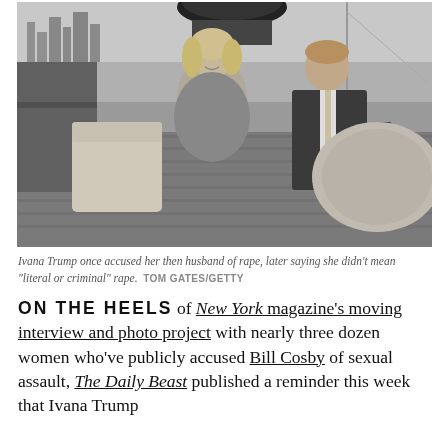[Figure (photo): Black and white photograph of a woman (Ivana Trump) and a man (Donald Trump) seated on a yacht deck, with a city skyline and water visible in the background.]
Ivana Trump once accused her then husband of rape, later saying she didn't mean "literal or criminal" rape.  TOM GATES/GETTY
ON THE HEELS of New York magazine's moving interview and photo project with nearly three dozen women who've publicly accused Bill Cosby of sexual assault, The Daily Beast published a reminder this week that Ivana Trump